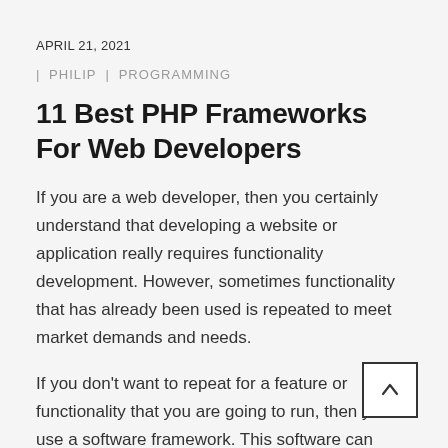APRIL 21, 2021
| PHILIP  | PROGRAMMING
11 Best PHP Frameworks For Web Developers
If you are a web developer, then you certainly understand that developing a website or application really requires functionality development. However, sometimes functionality that has already been used is repeated to meet market demands and needs.
If you don't want to repeat for a feature or functionality that you are going to run, then you use a software framework. This software can